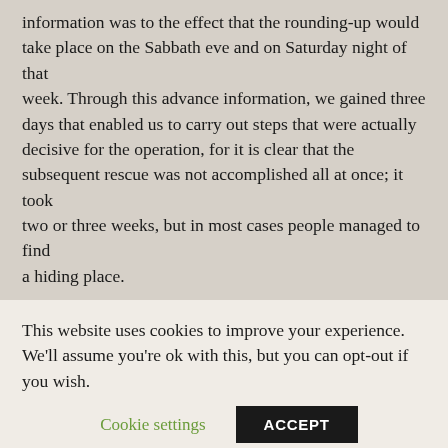information was to the effect that the rounding-up would take place on the Sabbath eve and on Saturday night of that week. Through this advance information, we gained three days that enabled us to carry out steps that were actually decisive for the operation, for it is clear that the subsequent rescue was not accomplished all at once; it took two or three weeks, but in most cases people managed to find a hiding place.

Presiding Judge: I did not follow who was the person who
This website uses cookies to improve your experience. We'll assume you're ok with this, but you can opt-out if you wish.